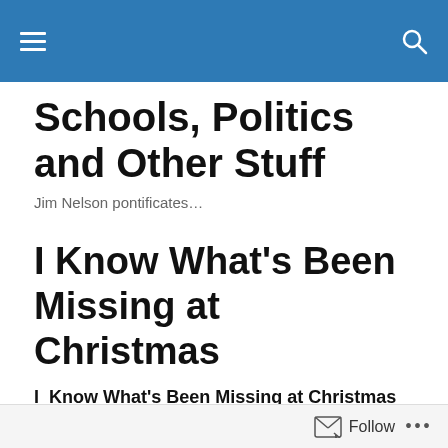Schools, Politics and Other Stuff — site navigation header
Schools, Politics and Other Stuff
Jim Nelson pontificates…
I Know What's Been Missing at Christmas
I  Know What's Been Missing at Christmas
Until a few years ago, Christmas spirit in the air of Metro Vancouver seemed more palpable than it has recently.
Follow